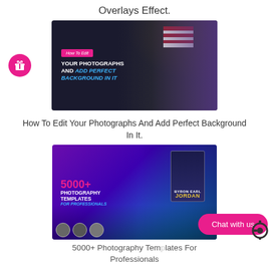Overlays Effect.
[Figure (screenshot): Thumbnail image showing football players with American flag and overlay text: How To Edit YOUR PHOTOGRAPHS AND ADD PERFECT BACKGROUND IN IT]
How To Edit Your Photographs And Add Perfect Background In It.
[Figure (screenshot): Promotional banner: 5000+ PHOTOGRAPHY TEMPLATES FOR PROFESSIONALS with sports card design and athlete photo]
5000+ Photography Templates For Professionals